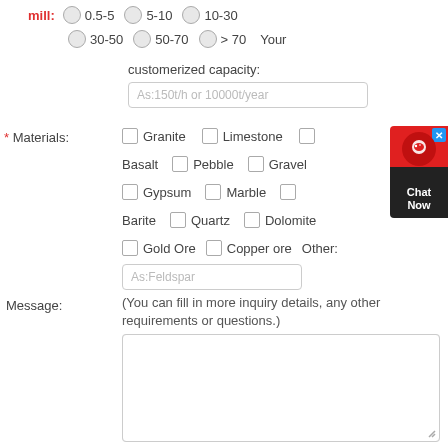mill: 0.5-5  5-10  10-30  30-50  50-70  > 70  Your
customerized capacity:
As:150t/h or 10000t/year
* Materials:
Granite  Limestone  Basalt  Pebble  Gravel  Gypsum  Marble  Barite  Quartz  Dolomite  Gold Ore  Copper ore  Other:
As:Feldspar
Message:
(You can fill in more inquiry details, any other requirements or questions.)